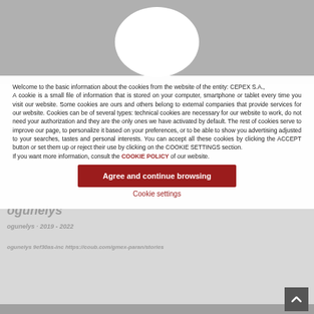[Figure (illustration): Grey background with white oval/circle shape centered at top]
Welcome to the basic information about the cookies from the website of the entity: CEPEX S.A.,
A cookie is a small file of information that is stored on your computer, smartphone or tablet every time you visit our website. Some cookies are ours and others belong to external companies that provide services for our website. Cookies can be of several types: technical cookies are necessary for our website to work, do not need your authorization and they are the only ones we have activated by default. The rest of cookies serve to improve our page, to personalize it based on your preferences, or to be able to show you advertising adjusted to your searches, tastes and personal interests. You can accept all these cookies by clicking the ACCEPT button or set them up or reject their use by clicking on the COOKIE SETTINGS section.
If you want more information, consult the COOKIE POLICY of our website.
Agree and continue browsing
Cookie settings